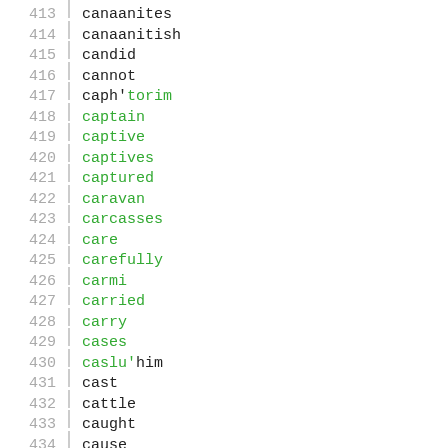413 canaanites
414 canaanitish
415 candid
416 cannot
417 caph'torim
418 captain
419 captive
420 captives
421 captured
422 caravan
423 carcasses
424 care
425 carefully
426 carmi
427 carried
428 carry
429 cases
430 caslu'him
431 cast
432 cattle
433 caught
434 cause